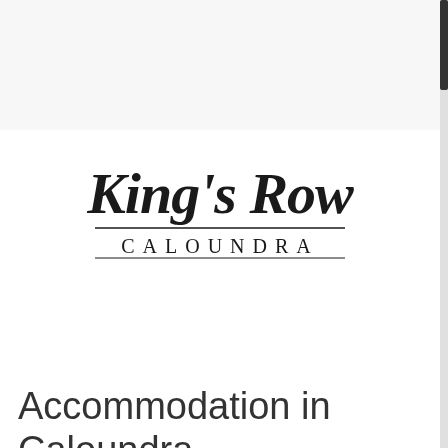[Figure (logo): King's Row Caloundra logo in decorative script font with 'CALOUNDRA' in spaced serif capitals below, underlined]
Accommodation in Caloundra